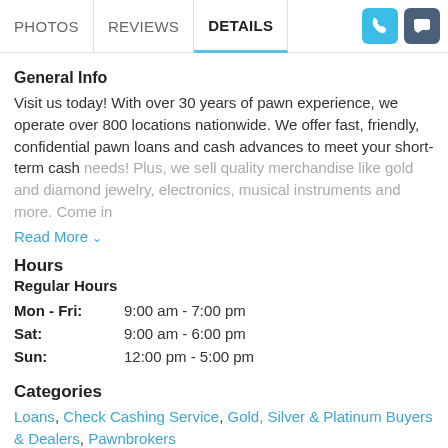PHOTOS | REVIEWS | DETAILS
General Info
Visit us today! With over 30 years of pawn experience, we operate over 800 locations nationwide. We offer fast, friendly, confidential pawn loans and cash advances to meet your short-term cash needs! Plus, we sell quality merchandise like gold and diamond jewelry, electronics, musical instruments and more. Come in today
Read More
Hours
Regular Hours
| Day | Hours |
| --- | --- |
| Mon - Fri: | 9:00 am - 7:00 pm |
| Sat: | 9:00 am - 6:00 pm |
| Sun: | 12:00 pm - 5:00 pm |
Categories
Loans, Check Cashing Service, Gold, Silver & Platinum Buyers & Dealers, Pawnbrokers